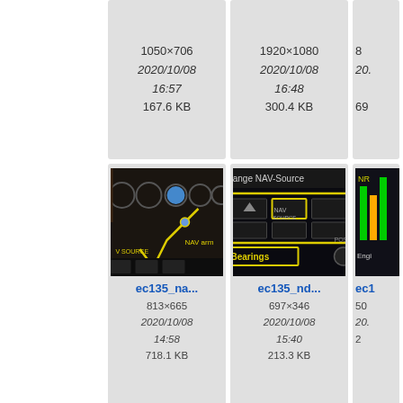[Figure (screenshot): File browser thumbnail grid showing aviation cockpit images. Row 1 (partial, top cut): two visible cells with metadata: 1050×706, 2020/10/08, 16:57, 167.6 KB; and 1920×1080, 2020/10/08, 16:48, 300.4 KB. Row 2: ec135_na... (813×665, 2020/10/08, 14:58, 718.1 KB) with cockpit thumbnail; ec135_nd... (697×346, 2020/10/08, 15:40, 213.3 KB) with NAV-Source panel thumbnail; partial third cell. Row 3 (partial, bottom cut): ec135_pf... (552×419), ec135_pf... (697×346), ec1... partial.]